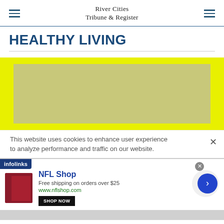River Cities Tribune & Register
HEALTHY LIVING
[Figure (photo): Yellow-bordered image placeholder with olive/khaki colored inner rectangle, partially visible at bottom of section]
This website uses cookies to enhance user experience to analyze performance and traffic on our website.
[Figure (screenshot): NFL Shop advertisement with infolinks badge. Shows NFL Shop logo, 'Free shipping on orders over $25', www.nflshop.com, SHOP NOW button, and a navigation arrow circle.]